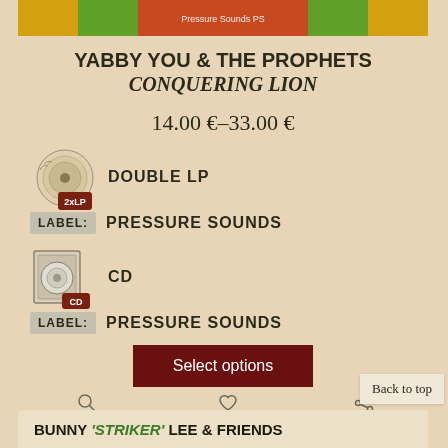[Figure (photo): Album cover thumbnail for Yabby You & The Prophets Conquering Lion with colorful red and green design]
YABBY YOU & THE PROPHETS CONQUERING LION
14.00 €–33.00 €
[Figure (illustration): 2xLP vinyl record icon with brown/cream circular badge labeled 2xLP]
DOUBLE LP
LABEL: PRESSURE SOUNDS
[Figure (illustration): CD format icon with disc image labeled CD]
CD
LABEL: PRESSURE SOUNDS
Select options
DETAILS
WISHLIST
SHARE
Back to top
BUNNY 'STRIKER' LEE & FRIENDS